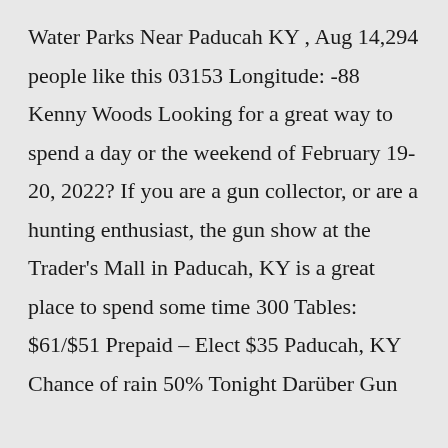Water Parks Near Paducah KY , Aug 14,294 people like this 03153 Longitude: -88 Kenny Woods Looking for a great way to spend a day or the weekend of February 19-20, 2022? If you are a gun collector, or are a hunting enthusiast, the gun show at the Trader's Mall in Paducah, KY is a great place to spend some time 300 Tables: $61/$51 Prepaid – Elect $35 Paducah, KY Chance of rain 50% Tonight Darüber Gun